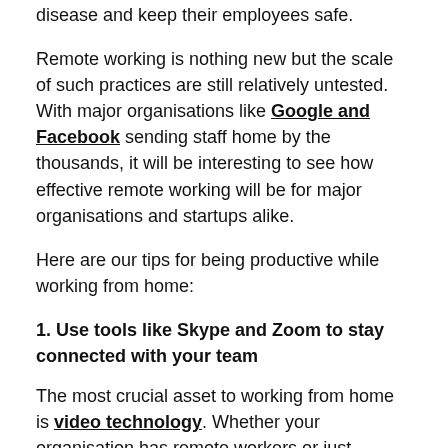disease and keep their employees safe.
Remote working is nothing new but the scale of such practices are still relatively untested. With major organisations like Google and Facebook sending staff home by the thousands, it will be interesting to see how effective remote working will be for major organisations and startups alike.
Here are our tips for being productive while working from home:
1. Use tools like Skype and Zoom to stay connected with your team
The most crucial asset to working from home is video technology. Whether your organisation has remote workers or just operates internationally, then I am sure you have some level of familiarity with video technology. Make sure